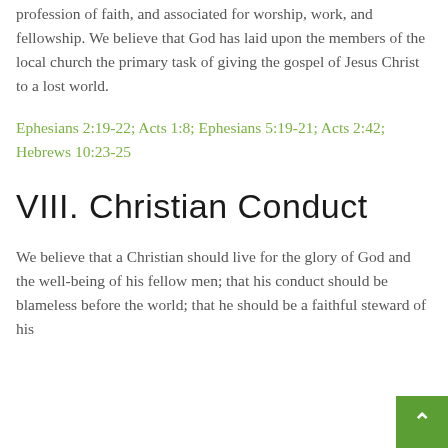profession of faith, and associated for worship, work, and fellowship. We believe that God has laid upon the members of the local church the primary task of giving the gospel of Jesus Christ to a lost world.
Ephesians 2:19-22; Acts 1:8; Ephesians 5:19-21; Acts 2:42; Hebrews 10:23-25
VIII. Christian Conduct
We believe that a Christian should live for the glory of God and the well-being of his fellow men; that his conduct should be blameless before the world; that he should be a faithful steward of his